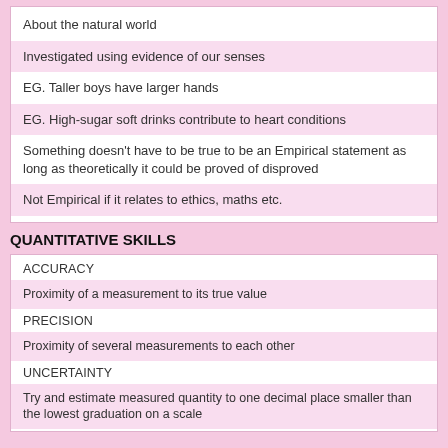About the natural world
Investigated using evidence of our senses
EG. Taller boys have larger hands
EG. High-sugar soft drinks contribute to heart conditions
Something doesn't have to be true to be an Empirical statement as long as theoretically it could be proved of disproved
Not Empirical if it relates to ethics, maths etc.
QUANTITATIVE SKILLS
ACCURACY
Proximity of a measurement to its true value
PRECISION
Proximity of several measurements to each other
UNCERTAINTY
Try and estimate measured quantity to one decimal place smaller than the lowest graduation on a scale